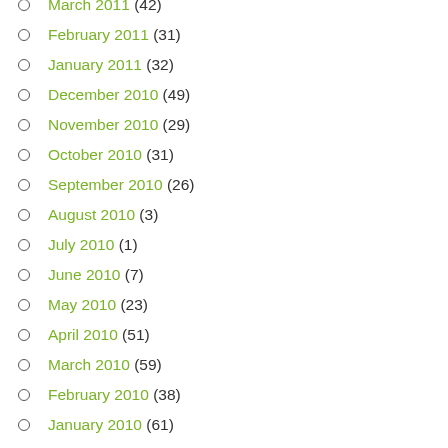March 2011 (42)
February 2011 (31)
January 2011 (32)
December 2010 (49)
November 2010 (29)
October 2010 (31)
September 2010 (26)
August 2010 (3)
July 2010 (1)
June 2010 (7)
May 2010 (23)
April 2010 (51)
March 2010 (59)
February 2010 (38)
January 2010 (61)
December 2009 (54)
November 2009 (38)